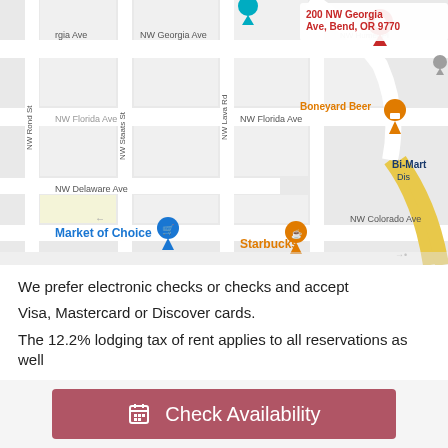[Figure (map): Google Maps screenshot showing area around 200 NW Georgia Ave, Bend, OR 9770. Map shows streets including NW Georgia Ave, NW Florida Ave, NW Delaware Ave, NW Colorado Ave, NW Lava Rd, NW Staats St, NW Rond St. Notable locations: Market of Choice, Starbucks, Boneyard Beer, Bi-Mart Dis. A red location pin marks 200 NW Georgia Ave, Bend OR 9770.]
We prefer electronic checks or checks and accept Visa, Mastercard or Discover cards.
The 12.2% lodging tax of rent applies to all reservations as well as cleaning fees.